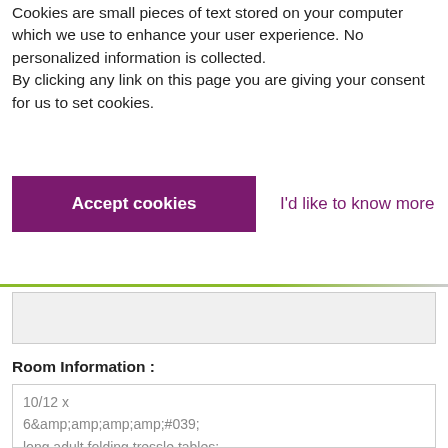Cookies are small pieces of text stored on your computer which we use to enhance your user experience. No personalized information is collected.
By clicking any link on this page you are giving your consent for us to set cookies.
[Figure (screenshot): Cookie consent banner with a purple 'Accept cookies' button and a 'I'd like to know more' link]
Room Information :
10/12 x
6&amp;amp;amp;amp;amp;#039;
long adult folding tressle tables:
approx measure. 183cm